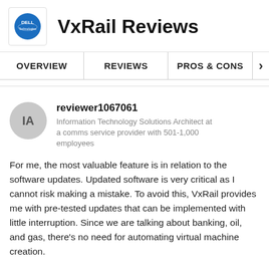VxRail Reviews
OVERVIEW | REVIEWS | PROS & CONS
reviewer1067061
Information Technology Solutions Architect at a comms service provider with 501-1,000 employees
For me, the most valuable feature is in relation to the software updates. Updated software is very critical as I cannot risk making a mistake. To avoid this, VxRail provides me with pre-tested updates that can be implemented with little interruption. Since we are talking about banking, oil, and gas, there's no need for automating virtual machine creation.
View full review »